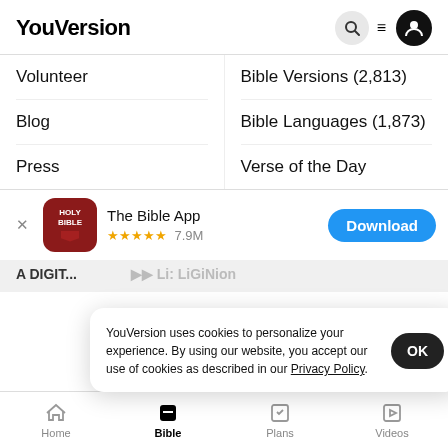YouVersion
Volunteer
Bible Versions (2,813)
Blog
Bible Languages (1,873)
Press
Verse of the Day
[Figure (screenshot): App store banner for The Bible App with Holy Bible icon, 5 stars, 7.9M ratings, and Download button]
YouVersion uses cookies to personalize your experience. By using our website, you accept our use of cookies as described in our Privacy Policy.
A DIGIT...
Home  Bible  Plans  Videos